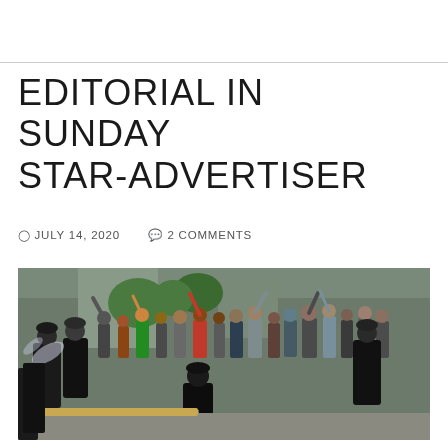EDITORIAL IN SUNDAY STAR-ADVERTISER
JULY 14, 2020   2 COMMENTS
[Figure (photo): Police officers in black uniforms confronting a large crowd of protesters on a city street. One officer appears to be deploying pepper spray toward the crowd. Several officers are on the ground. The crowd in the background has hands raised and is gathered densely.]